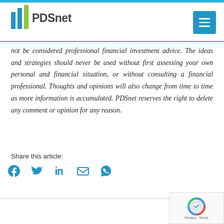PDSnet
not be considered professional financial investment advice. The ideas and strategies should never be used without first assessing your own personal and financial situation, or without consulting a financial professional. Thoughts and opinions will also change from time to time as more information is accumulated. PDSnet reserves the right to delete any comment or opinion for any reason.
Share this article: